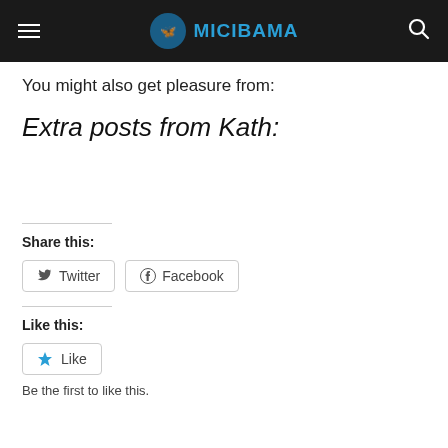MICIBAMA
You might also get pleasure from:
Extra posts from Kath:
Share this:
Twitter  Facebook
Like this:
Like
Be the first to like this.